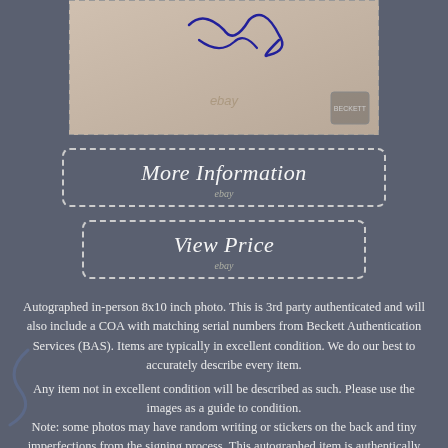[Figure (photo): Partial view of an autographed 8x10 inch photo with a blue signature and ebay watermark, Beckett Authentication stamp visible in corner]
[Figure (other): More Information button with dashed border and ebay watermark below]
[Figure (other): View Price button with dashed border and ebay watermark below]
Autographed in-person 8x10 inch photo. This is 3rd party authenticated and will also include a COA with matching serial numbers from Beckett Authentication Services (BAS). Items are typically in excellent condition. We do our best to accurately describe every item.
Any item not in excellent condition will be described as such. Please use the images as a guide to condition.
Note: some photos may have random writing or stickers on the back and tiny imperfections from the signing process. This autographed item is authentically hand-signed and is 100% guaranteed authentic for...